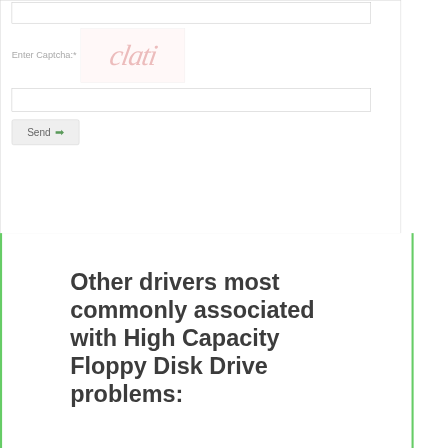[Figure (screenshot): Web form section showing an input box at the top, a CAPTCHA field with label 'Enter Captcha:*' and a red-pink stylized text image showing 'clati', a second input box, and a Send button with a green arrow icon.]
Other drivers most commonly associated with High Capacity Floppy Disk Drive problems: